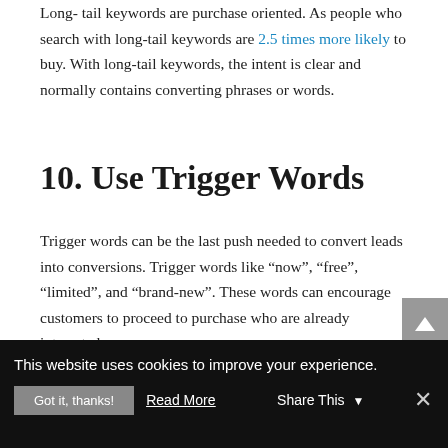Long-tail keywords are purchase oriented. As people who search with long-tail keywords are 2.5 times more likely to buy. With long-tail keywords, the intent is clear and normally contains converting phrases or words.
10. Use Trigger Words
Trigger words can be the last push needed to convert leads into conversions. Trigger words like “now”, “free”, “limited”, and “brand-new”. These words can encourage customers to proceed to purchase who are already interested.
11. Optimize Your SERP
This website uses cookies to improve your experience.
Got it, thanks!  Read More  Share This  ×